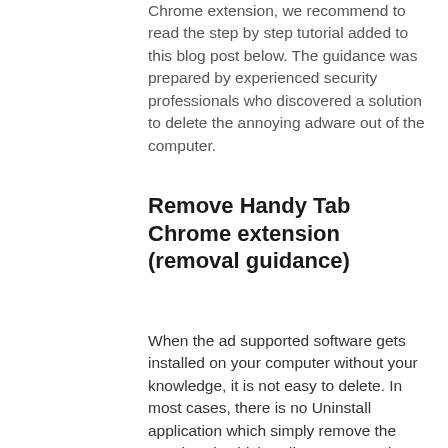Chrome extension, we recommend to read the step by step tutorial added to this blog post below. The guidance was prepared by experienced security professionals who discovered a solution to delete the annoying adware out of the computer.
Remove Handy Tab Chrome extension (removal guidance)
When the ad supported software gets installed on your computer without your knowledge, it is not easy to delete. In most cases, there is no Uninstall application which simply remove the Handy Tab which redirects your web browser to undesired ad web pages from your PC. So, we recommend using several well-proven free specialized tools such as Zemana AntiMalware, MalwareBytes Anti-